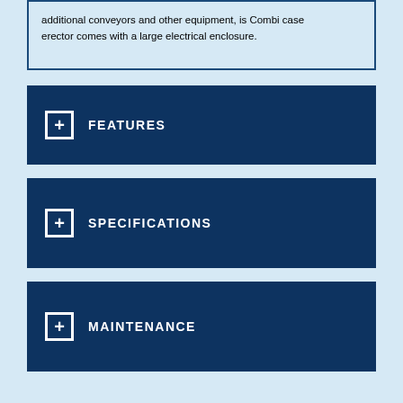additional conveyors and other equipment, is Combi case erector comes with a large electrical enclosure.
+ FEATURES
+ SPECIFICATIONS
+ MAINTENANCE